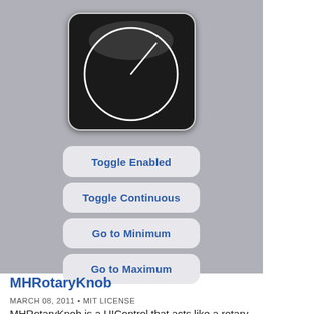[Figure (screenshot): iOS app screenshot showing a rotary knob control (black circular dial with white needle on dark square background) and four buttons below: Toggle Enabled, Toggle Continuous, Go to Minimum, Go to Maximum. Gray background.]
MHRotaryKnob
MARCH 08, 2011 • MIT LICENSE
MHRotaryKnob is a UIControl that acts like a rotary